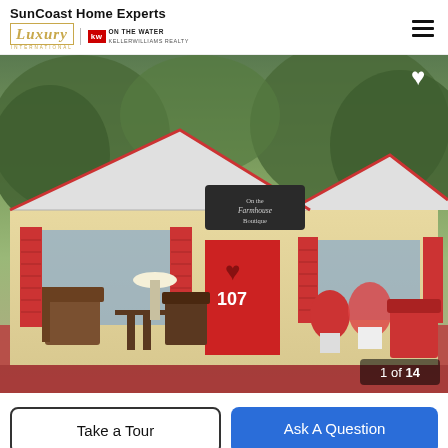SunCoast Home Experts
[Figure (photo): Exterior photo of a yellow cottage-style building with red shutters and red front door, number 107, with vintage furniture displayed on a red porch. Trees visible in background. Heart wreath on front door. Sign above door reads boutique. 1 of 14 photo counter shown.]
Take a Tour
Ask A Question